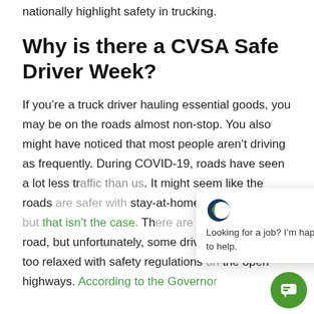nationally highlight safety in trucking.
Why is there a CVSA Safe Driver Week?
If you’re a truck driver hauling essential goods, you may be on the roads almost non-stop. You also might have noticed that most people aren’t driving as frequently. During COVID-19, roads have seen a lot less traffic than us. It might seem like the roads stay-at-home orders that isn’t the case. Th the road, but unfortunately, some drivers are getting too relaxed with safety regulations the open highways. According to the Governor
[Figure (other): Chat widget overlay with CVSA logo and text 'Looking for a job? I’m happy to help.' with a close button, and a green circular chat button at the bottom right.]